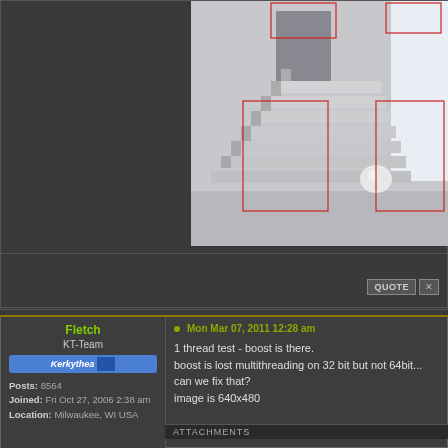[Figure (screenshot): 3D rendered interior scene showing a staircase and hallway in light grey tones, with red rectangular selection boxes overlaid on various areas of the image. A white spherical object sits on one of the stair landings.]
QUOTE  X
Fletch
KT-Team
Kerkythea badge
Posts: 8564
Joined: Fri Oct 27, 2006 2:38 am
Location: Milwaukee, WI USA
Mon Mar 07, 2011 12:28 am
1 thread test - boost is there.
boost is lost multithreading on 32 bit but not 64bit... can we fix that?
image is 640x480
ATTACHMENTS